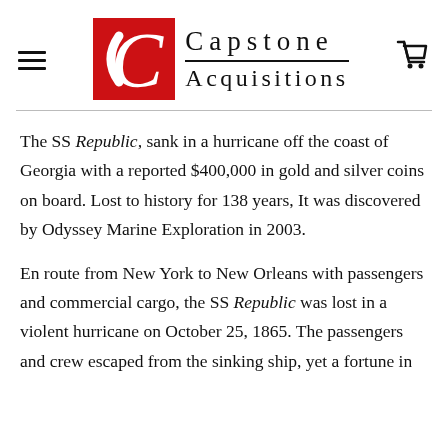[Figure (logo): Capstone Acquisitions logo with red box containing white C and text 'Capstone Acquisitions']
The SS Republic, sank in a hurricane off the coast of Georgia with a reported $400,000 in gold and silver coins on board. Lost to history for 138 years, It was discovered by Odyssey Marine Exploration in 2003.
En route from New York to New Orleans with passengers and commercial cargo, the SS Republic was lost in a violent hurricane on October 25, 1865. The passengers and crew escaped from the sinking ship, yet a fortune in